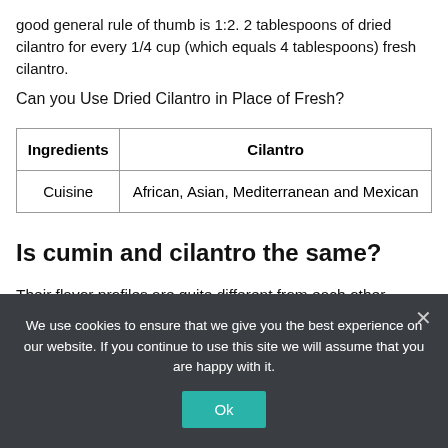good general rule of thumb is 1:2. 2 tablespoons of dried cilantro for every 1/4 cup (which equals 4 tablespoons) fresh cilantro.
Can you Use Dried Cilantro in Place of Fresh?
| Ingredients | Cilantro |
| --- | --- |
| Cuisine | African, Asian, Mediterranean and Mexican |
Is cumin and cilantro the same?
Their flavor profiles are quite different from each other. Coriander has a slightly sweet flavor. The flavor of
We use cookies to ensure that we give you the best experience on our website. If you continue to use this site we will assume that you are happy with it.